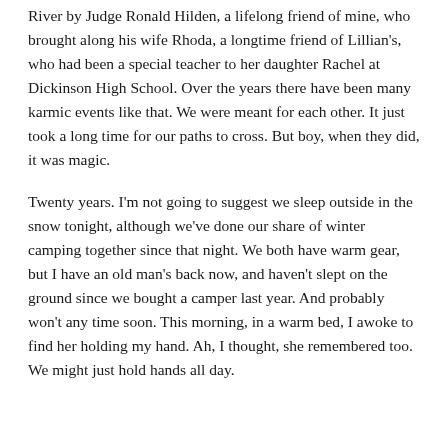River by Judge Ronald Hilden, a lifelong friend of mine, who brought along his wife Rhoda, a longtime friend of Lillian's, who had been a special teacher to her daughter Rachel at Dickinson High School. Over the years there have been many karmic events like that. We were meant for each other. It just took a long time for our paths to cross. But boy, when they did, it was magic.
Twenty years. I'm not going to suggest we sleep outside in the snow tonight, although we've done our share of winter camping together since that night. We both have warm gear, but I have an old man's back now, and haven't slept on the ground since we bought a camper last year. And probably won't any time soon. This morning, in a warm bed, I awoke to find her holding my hand. Ah, I thought, she remembered too. We might just hold hands all day.